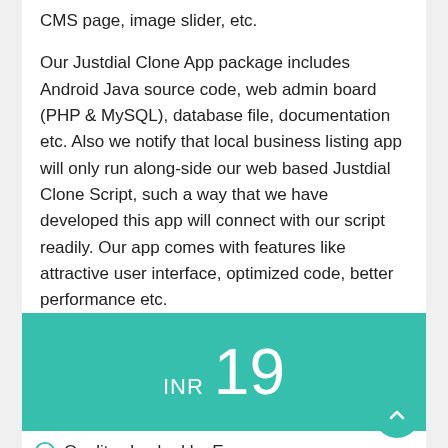CMS page, image slider, etc.

Our Justdial Clone App package includes Android Java source code, web admin board (PHP & MySQL), database file, documentation etc. Also we notify that local business listing app will only run along-side our web based Justdial Clone Script, such a way that we have developed this app will connect with our script readily. Our app comes with features like attractive user interface, optimized code, better performance etc.
INR 19
Quality checked by Ecomm